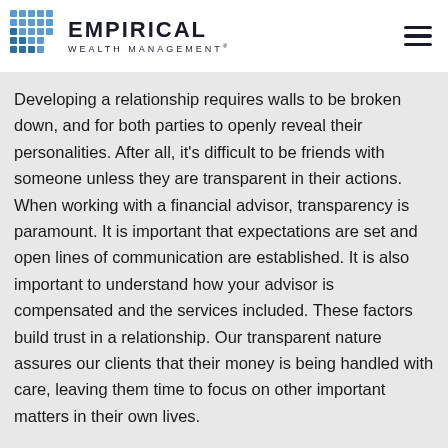EMPIRICAL WEALTH MANAGEMENT®
Developing a relationship requires walls to be broken down, and for both parties to openly reveal their personalities. After all, it's difficult to be friends with someone unless they are transparent in their actions. When working with a financial advisor, transparency is paramount. It is important that expectations are set and open lines of communication are established. It is also important to understand how your advisor is compensated and the services included. These factors build trust in a relationship. Our transparent nature assures our clients that their money is being handled with care, leaving them time to focus on other important matters in their own lives.